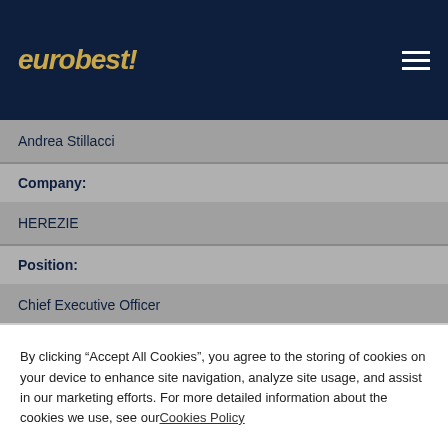eurobest!
Andrea Stillacci
Company:
HEREZIE
Position:
Chief Executive Officer
Name:
By clicking “Accept All Cookies”, you agree to the storing of cookies on your device to enhance site navigation, analyze site usage, and assist in our marketing efforts. For more detailed information about the cookies we use, see our Cookies Policy